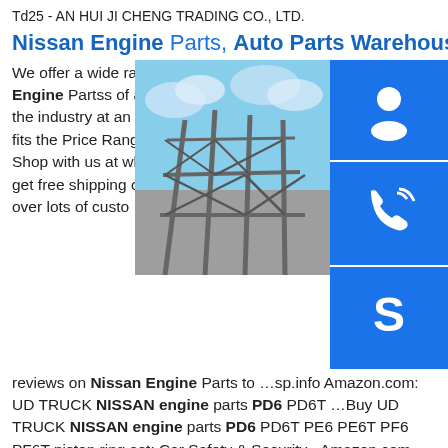Td25 - AN HUI JI CHENG TRADING CO., LTD.
Nissan Engine Parts, Auto Parts Warehouse
We offer a wide range of Nissan Engine Partss of all the best brands in the industry at an affordable rate that fits the Price Range you are looking for. Shop with us at wholesale prices and get free shipping over $50. We have over lots of customer reviews on Nissan Engine Parts to …sp.info Amazon.com: UD TRUCK NISSAN engine parts PD6 PD6T …Buy UD TRUCK NISSAN engine parts PD6 PD6T PE6 PE6T PF6 PF6T piston ring set: Car Safety & Security - Amazon.com FREE DELIVERY possible on eligible purchasessp.info NISSAN Diesel Engine Thrust Washer--Bee Auto Parts …nissan engine bearing, such as main bearing, bearing, thrust washer, NISSAN Diesel Engine
[Figure (photo): Photo of a steel construction frame structure against a blue sky, with three blue icon buttons on the right side: headset/support icon, phone/call icon, and Skype icon.]